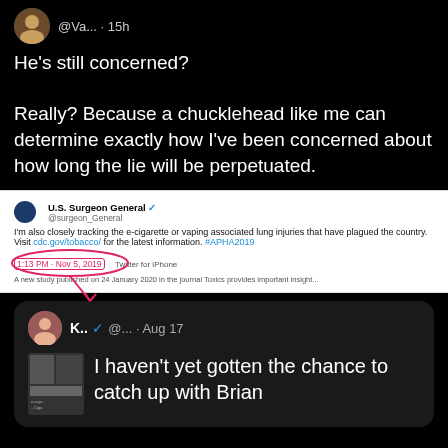[Figure (screenshot): Dark-mode tweet from @Va... posted 15h ago saying 'He's still concerned? Really? Because a chucklehead like me can determine exactly how I've been concerned about how long the lie will be perpetuated.']
[Figure (screenshot): Embedded tweet from U.S. Surgeon General @surgeon_general: 'I'm also closely tracking the e-cigarette or vaping associated lung injuries that have plagued the country. Visit cdc.gov/tobacco/ for the latest information. #APHA2019' with a circled timestamp and red arrow annotation.]
[Figure (screenshot): Dark-mode tweet from K.. (verified) @... posted Aug 17, containing text 'I haven't yet gotten the chance to catch up with Brian' with a thumbnail image.]